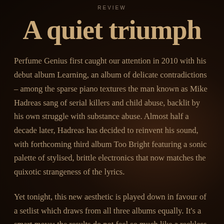REVIEW
A quiet triumph
Perfume Genius first caught our attention in 2010 with his debut album Learning, an album of delicate contradictions – among the sparse piano textures the man known as Mike Hadreas sang of serial killers and child abuse, backlit by his own struggle with substance abuse. Almost half a decade later, Hadreas has decided to reinvent his sound, with forthcoming third album Too Bright featuring a sonic palette of stylised, brittle electronics that now matches the quixotic strangeness of the lyrics.
Yet tonight, this new aesthetic is played down in favour of a setlist which draws from all three albums equally. It's a smart move: the results do not feel so much like a reckless reinvention than a perfectly manicured day trip into the dark heart of Perfume...